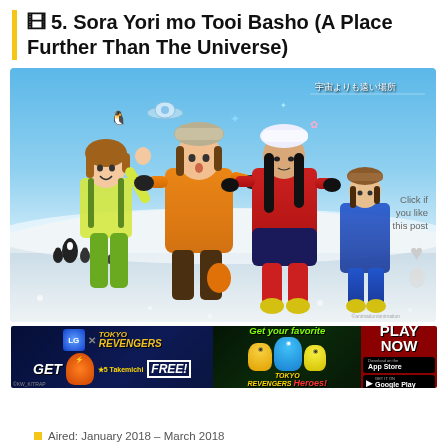🎞5. Sora Yori mo Tooi Basho (A Place Further Than The Universe)
[Figure (illustration): Anime promotional image for Sora Yori mo Tooi Basho showing four anime girls in winter/polar gear standing in a snowy landscape. One girl in yellow-green outfit, one in orange puffer coat, one in red suit, one in blue suit. Snowy Antarctic background with penguins. Japanese text in top right corner. 'Click if you like this post' text and heart icon on right side.]
[Figure (illustration): Advertisement banner for a mobile game featuring Tokyo Revengers collaboration. Left section: dark blue background with Tokyo Revengers logo, 'GET ★5 Takemichi FREE!' text. Middle section: dark green background with 'Get your favorite Tokyo Revengers Heroes!' text. Right section: dark red background with 'PLAY NOW' button and App Store/Google Play badges.]
Aired: January 2018 – March 2018